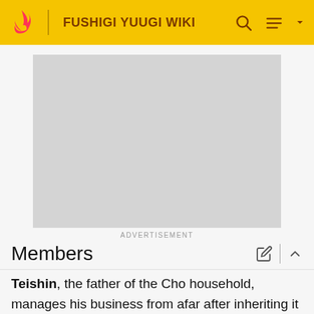FUSHIGI YUUGI WIKI
[Figure (other): Advertisement placeholder — grey rectangle]
ADVERTISEMENT
Members
Teishin, the father of the Cho household, manages his business from afar after inheriting it from his father and his father before that. He relies on his eldest son, Rokou,